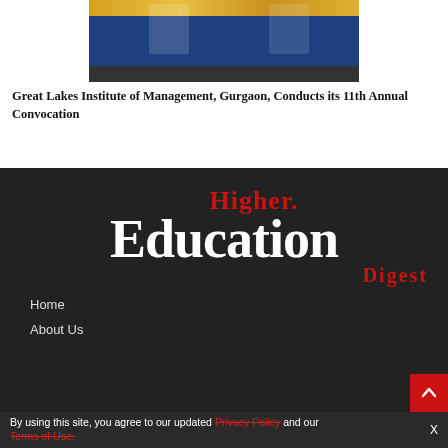[Figure (photo): Photo of people seated at a table on a stage with yellow draping/decorations and a blue banner, at the Great Lakes Institute of Management convocation event]
Great Lakes Institute of Management, Gurgaon, Conducts its 11th Annual Convocation
[Figure (logo): Higher Education Digest logo — 'Higher.' in red serif font, 'Education' in large white bold serif font, 'Digest' in red serif font]
Home
About Us
By using this site, you agree to our updated Privacy Policy and our Terms of Use.